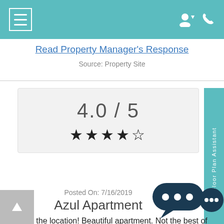Navigation bar with hamburger menu and user/phone icons
Read Property Manager's Response
Source: Property Site
[Figure (other): Rating box showing 4.0 / 5 with four filled stars]
Floor Plan Assistant
Posted On: 7/16/2019
Azul Apartment
Love the location! Beautiful apartment. Not the best of parking.
By: Anonymous